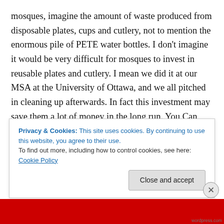mosques, imagine the amount of waste produced from disposable plates, cups and cutlery, not to mention the enormous pile of PETE water bottles. I don't imagine it would be very difficult for mosques to invest in reusable plates and cutlery. I mean we did it at our MSA at the University of Ottawa, and we all pitched in cleaning up afterwards. In fact this investment may save them a lot of money in the long run. You Can even rent dinnerware froim your favourite party store at less than $0.50 per dozen, and they will handle the cleaning. Also, all you brothers and sisters heading to the mosques should take
Privacy & Cookies: This site uses cookies. By continuing to use this website, you agree to their use.
To find out more, including how to control cookies, see here: Cookie Policy
Close and accept